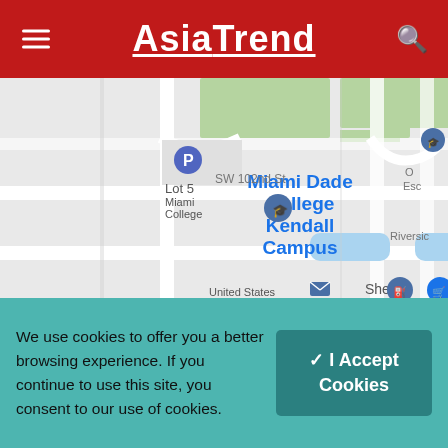AsiaTrend
[Figure (map): Google Maps screenshot showing Miami Dade College Kendall Campus area. Map shows streets including SW 102nd St and SW 103rd St, parking Lot 5, Admissions marker, United States Postal Service, Shell gas station, and a location pin at 11011 SW 104th St, Miami, FL 3317. Blue water features visible. Adjacent labels include Riverside and Esc.]
We use cookies to offer you a better browsing experience. If you continue to use this site, you consent to our use of cookies.